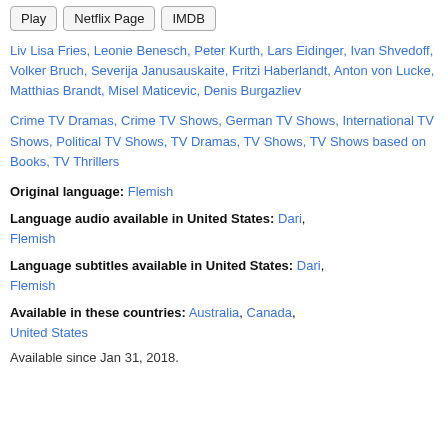Play | Netflix Page | IMDB
Liv Lisa Fries, Leonie Benesch, Peter Kurth, Lars Eidinger, Ivan Shvedoff, Volker Bruch, Severija Janusauskaite, Fritzi Haberlandt, Anton von Lucke, Matthias Brandt, Misel Maticevic, Denis Burgazliev
Crime TV Dramas, Crime TV Shows, German TV Shows, International TV Shows, Political TV Shows, TV Dramas, TV Shows, TV Shows based on Books, TV Thrillers
Original language: Flemish
Language audio available in United States: Dari, Flemish
Language subtitles available in United States: Dari, Flemish
Available in these countries: Australia, Canada, United States
Available since Jan 31, 2018.